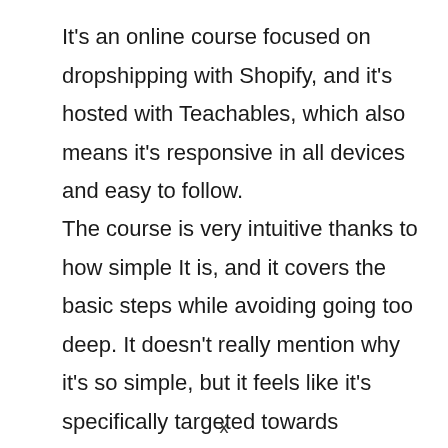It's an online course focused on dropshipping with Shopify, and it's hosted with Teachables, which also means it's responsive in all devices and easy to follow.
The course is very intuitive thanks to how simple It is, and it covers the basic steps while avoiding going too deep. It doesn't really mention why it's so simple, but it feels like it's specifically targeted towards
x